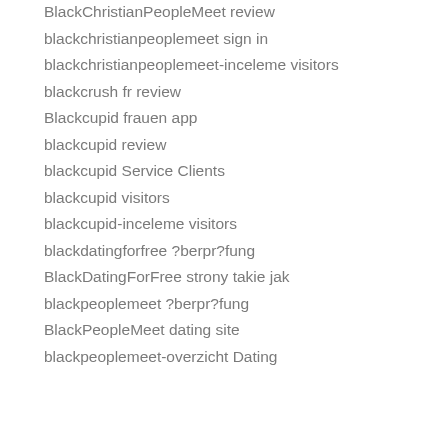blackchristianpeoplemeet ne demek
BlackChristianPeopleMeet review
blackchristianpeoplemeet sign in
blackchristianpeoplemeet-inceleme visitors
blackcrush fr review
Blackcupid frauen app
blackcupid review
blackcupid Service Clients
blackcupid visitors
blackcupid-inceleme visitors
blackdatingforfree ?berpr?fung
BlackDatingForFree strony takie jak
blackpeoplemeet ?berpr?fung
BlackPeopleMeet dating site
blackpeoplemeet-overzicht Dating